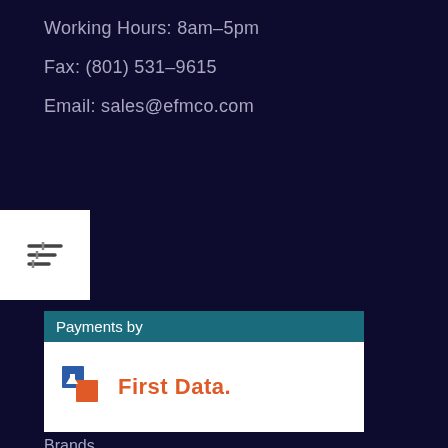Working Hours: 8am-5pm
Fax: (801) 531-9615
Email: sales@efmco.com
Other Information
My Account
Brands
Privacy Policy
Quick Order
About Us
Financing
[Figure (logo): Payments by First Data logo badge. Top bar reads 'Payments by' on teal background. White section below shows First Data logo with orange/red geometric icon and bold 'First Data.' text.]